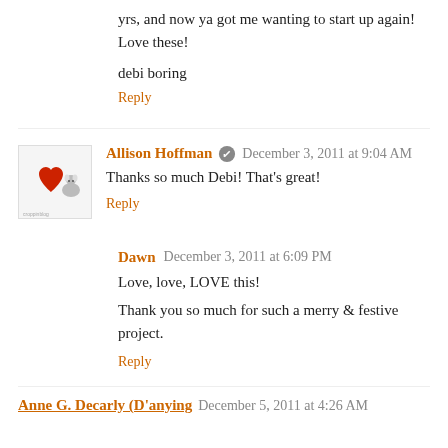yrs, and now ya got me wanting to start up again! Love these!
debi boring
Reply
Allison Hoffman  December 3, 2011 at 9:04 AM
Thanks so much Debi! That's great!
Reply
Dawn  December 3, 2011 at 6:09 PM
Love, love, LOVE this!
Thank you so much for such a merry & festive project.
Reply